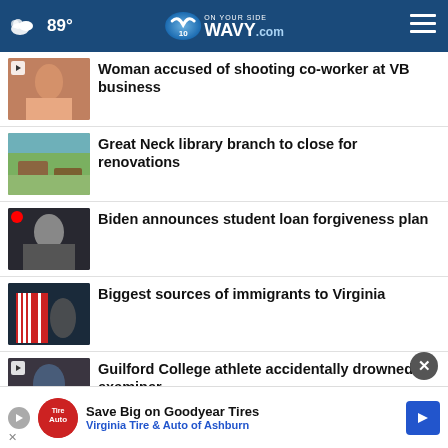89° WAVY.com On Your Side
Woman accused of shooting co-worker at VB business
Great Neck library branch to close for renovations
Biden announces student loan forgiveness plan
Biggest sources of immigrants to Virginia
Guilford College athlete accidentally drowned: examiner
[Figure (screenshot): Advertisement banner: Save Big on Goodyear Tires - Virginia Tire & Auto of Ashburn]